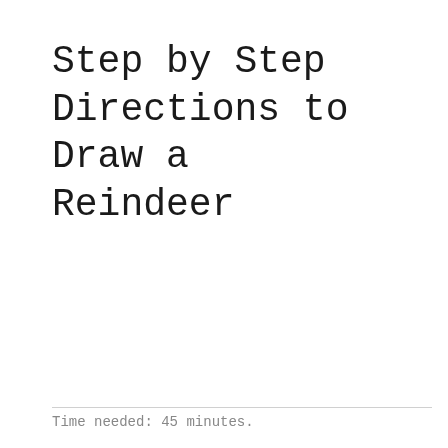Step by Step Directions to Draw a Reindeer
Time needed: 45 minutes.